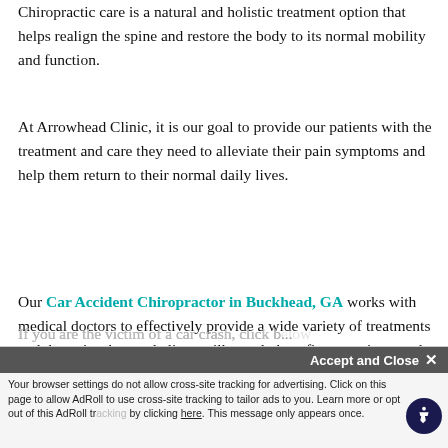Chiropractic care is a natural and holistic treatment option that helps realign the spine and restore the body to its normal mobility and function.
At Arrowhead Clinic, it is our goal to provide our patients with the treatment and care they need to alleviate their pain symptoms and help them return to their normal daily lives.
Our Car Accident Chiropractor in Buckhead, GA works with medical doctors to effectively provide a wide variety of treatments and therapies that we believe will greatly benefit our patients and their recovery needs.
If you are the victim of a car crash, click below to schedule an appointment with our chiropractor who...
Your browser settings do not allow cross-site tracking for advertising. Click on this page to allow AdRoll to use cross-site tracking to tailor ads to you. Learn more or opt out of this AdRoll tracking by clicking here. This message only appears once.